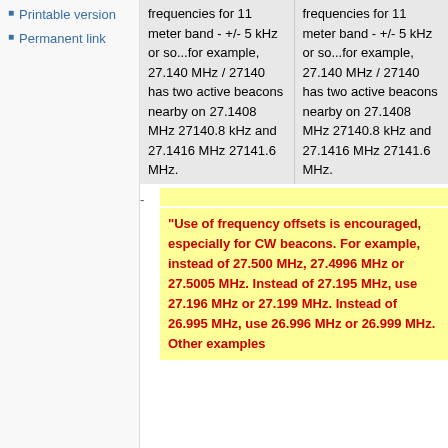Printable version
Permanent link
frequencies for 11 meter band - +/- 5 kHz or so...for example, 27.140 MHz / 27140 has two active beacons nearby on 27.1408 MHz 27140.8 kHz and 27.1416 MHz 27141.6 MHz.
frequencies for 11 meter band - +/- 5 kHz or so...for example, 27.140 MHz / 27140 has two active beacons nearby on 27.1408 MHz 27140.8 kHz and 27.1416 MHz 27141.6 MHz.
"Use of frequency offsets is encouraged, especially for CW beacons.  For example, instead of 27.500 MHz, 27.4996 MHz or 27.5005 MHz. Instead of 27.195 MHz, use 27.196 MHz or 27.199 MHz. Instead of 26.995 MHz, use 26.996 MHz or 26.999 MHz. Other examples